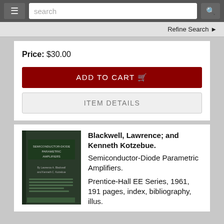search
Refine Search ❯
Price: $30.00
ADD TO CART 🛒
ITEM DETAILS
[Figure (photo): Cover of the book 'Semiconductor-Diode Parametric Amplifiers' — dark green hardcover]
Blackwell, Lawrence; and Kenneth Kotzebue. Semiconductor-Diode Parametric Amplifiers. Prentice-Hall EE Series, 1961, 191 pages, index, bibliography, illus.